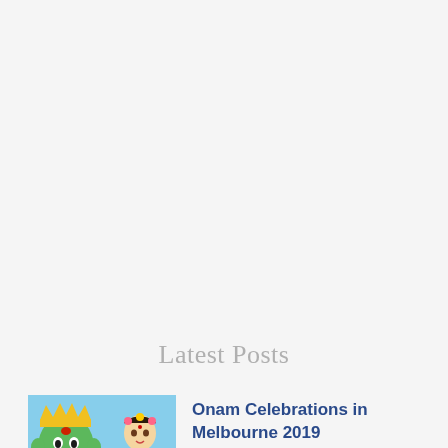Latest Posts
[Figure (illustration): Colorful illustrated image depicting Onam festival characters including a green-faced demon king Mahabali and a traditionally dressed figure with decorative elements]
Onam Celebrations in Melbourne 2019